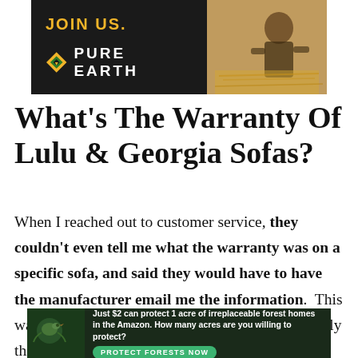[Figure (other): Top advertisement banner for Pure Earth charity. Left side has black background with yellow 'JOIN US.' text and white 'PURE EARTH' logo with diamond icon. Right side shows a person working with straw/natural materials.]
What's The Warranty Of Lulu & Georgia Sofas?
When I reached out to customer service, they couldn't even tell me what the warranty was on a specific sofa, and said they would have to have the manufacturer email me the information. This was very disappointing to me and something I really think should be
[Figure (other): Bottom advertisement banner with dark green background. Shows a bird image on left. Text reads: 'Just $2 can protect 1 acre of irreplaceable forest homes in the Amazon. How many acres are you willing to protect?' with a green 'PROTECT FORESTS NOW' button.]